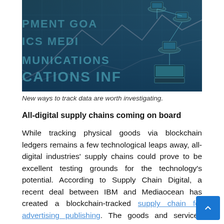[Figure (photo): Dark teal-blue digital photo showing network nodes (computers/laptops) connected by lines overlaid with data/chart graphics and text mentioning words like COMMUNICATIONS, INFRASTRUCTURE, DEVELOPMENT GOALS, ANALYTICS, MEDIA]
New ways to track data are worth investigating.
All-digital supply chains coming on board
While tracking physical goods via blockchain ledgers remains a few technological leaps away, all-digital industries' supply chains could prove to be excellent testing grounds for the technology's potential. According to Supply Chain Digital, a recent deal between IBM and Mediaocean has created a blockchain-tracked supply chain for advertising publishing. The goods and services being exchanged in this model are online display ads, and the ledger can follow spending.